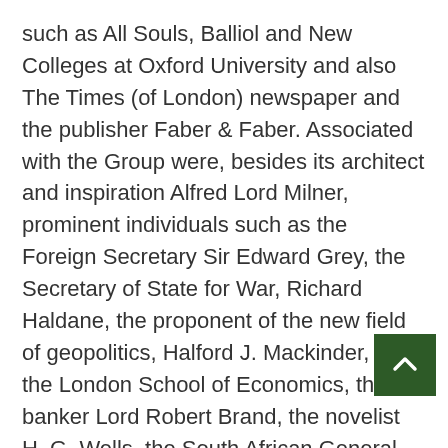such as All Souls, Balliol and New Colleges at Oxford University and also The Times (of London) newspaper and the publisher Faber & Faber. Associated with the Group were, besides its architect and inspiration Alfred Lord Milner, prominent individuals such as the Foreign Secretary Sir Edward Grey, the Secretary of State for War, Richard Haldane, the proponent of the new field of geopolitics, Halford J. Mackinder, of the London School of Economics, the banker Lord Robert Brand, the novelist H. G. Wells, the South African General and Prime Minister, Jan Smuts, UK Foreign Secretary Arthur Balfour (of the Balfour Declaration), Geoffrey Dawson, editor of The Times, Lord Robert Cecil of the powerful aristocratic Cecil family, and later, the historian Arnold J. Toynbee. Its two key ideologues